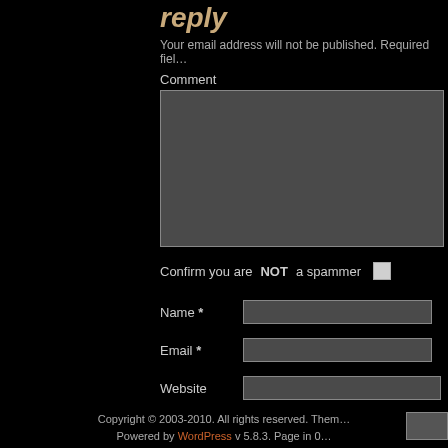reply
Your email address will not be published. Required fiel…
Comment
[Figure (other): Comment text area input box (dark gray background)]
Confirm you are NOT a spammer
Name *
Email *
Website
[Figure (other): Submit button (partial, dark gray)]
Copyright © 2003-2010. All rights reserved. Theme… Powered by WordPress v 5.8.3. Page in 0…